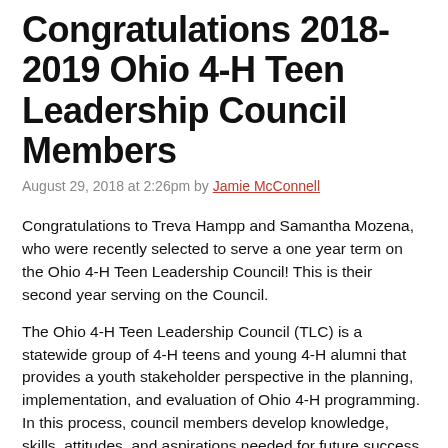Congratulations 2018-2019 Ohio 4-H Teen Leadership Council Members
August 29, 2018 at 2:26pm by Jamie McConnell
Congratulations to Treva Hampp and Samantha Mozena, who were recently selected to serve a one year term on the Ohio 4-H Teen Leadership Council! This is their second year serving on the Council.
The Ohio 4-H Teen Leadership Council (TLC) is a statewide group of 4-H teens and young 4-H alumni that provides a youth stakeholder perspective in the planning, implementation, and evaluation of Ohio 4-H programming. In this process, council members develop knowledge, skills, attitudes, and aspirations needed for future success. Council members share advice and recommendations to 4-